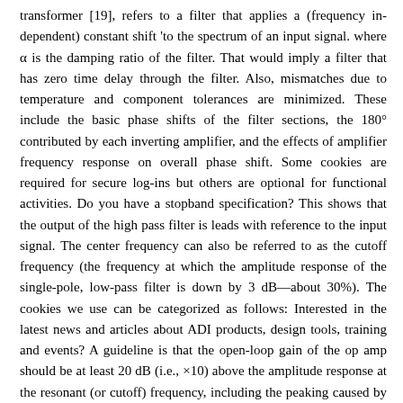transformer [19], refers to a filter that applies a (frequency in-dependent) constant shift 'to the spectrum of an input signal. where α is the damping ratio of the filter. That would imply a filter that has zero time delay through the filter. Also, mismatches due to temperature and component tolerances are minimized. These include the basic phase shifts of the filter sections, the 180° contributed by each inverting amplifier, and the effects of amplifier frequency response on overall phase shift. Some cookies are required for secure log-ins but others are optional for functional activities. Do you have a stopband specification? This shows that the output of the high pass filter is leads with reference to the input signal. The center frequency can also be referred to as the cutoff frequency (the frequency at which the amplitude response of the single-pole, low-pass filter is down by 3 dB—about 30%). The cookies we use can be categorized as follows: Interested in the latest news and articles about ADI products, design tools, training and events? A guideline is that the open-loop gain of the op amp should be at least 20 dB (i.e., ×10) above the amplitude response at the resonant (or cutoff) frequency, including the peaking caused by the Q of the filter. When filter responses are cascaded, dB gains (and attenuations) add, and phase angles add, at any frequency. And the larger the phase constant, the more it's